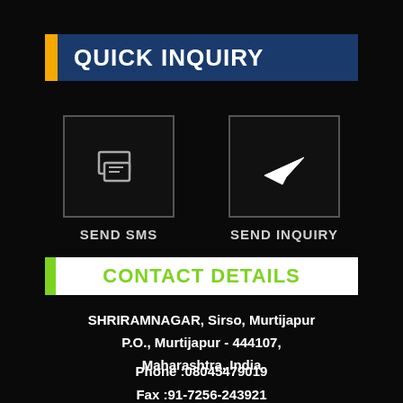QUICK INQUIRY
[Figure (infographic): Two icon buttons: SEND SMS (SMS/chat icon in bordered box) and SEND INQUIRY (paper plane icon in bordered box)]
CONTACT DETAILS
SHRIRAMNAGAR, Sirso, Murtijapur P.O., Murtijapur - 444107, Maharashtra, India
Phone :08045479019
Fax :91-7256-243921